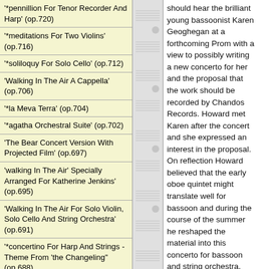'*pennillion For Tenor Recorder And Harp' (op.720)
'*meditations For Two Violins' (op.716)
'*soliloquy For Solo Cello' (op.712)
'Walking In The Air A Cappella' (op.706)
'*la Meva Terra' (op.704)
'*agatha Orchestral Suite' (op.702)
'The Bear Concert Version With Projected Film' (op.697)
'walking In The Air' Specially Arranged For Katherine Jenkins' (op.695)
'Walking In The Air For Solo Violin, Solo Cello And String Orchestra' (op.691)
'*concertino For Harp And Strings - Theme From 'the Changeling" (op.688)
'Sleepwalking For Soprano Vocalise And String Orchestra' (op.687)
should hear the brilliant young bassoonist Karen Geoghegan at a forthcoming Prom with a view to possibly writing a new concerto for her and the proposal that the work should be recorded by Chandos Records. Howard met Karen after the concert and she expressed an interest in the proposal. On reflection Howard believed that the early oboe quintet might translate well for bassoon and during the course of the summer he reshaped the material into this concerto for bassoon and string orchestra. Karen played it through with Howard and was delighted. Music critic Bob Briggs wrote